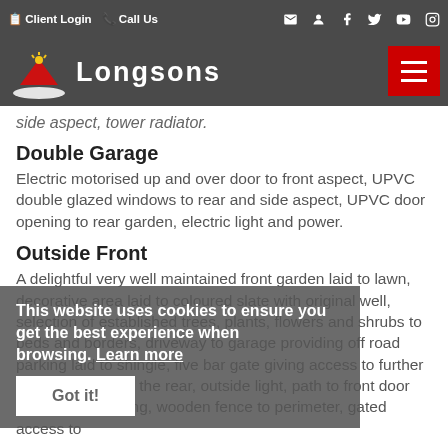Client Login  Call Us
[Figure (logo): Longsons logo with house icon and white text on dark background]
side aspect, tower radiator.
Double Garage
Electric motorised up and over door to front aspect, UPVC double glazed windows to rear and side aspect, UPVC door opening to rear garden, electric light and power.
Outside Front
A delightful very well maintained front garden laid to lawn, decorative area laid to coloured slate with original well, selection of established trees, plants, flowers and shrubs to beds and borders, driveway to garage providing off road parking laid to shingle, five bar gate giving access to further secure parking to the rear, outside light, path to front door laid to block paving, wooden fence to perimeter, gated access to
This website uses cookies to ensure you get the best experience when browsing. Learn more
Got it!